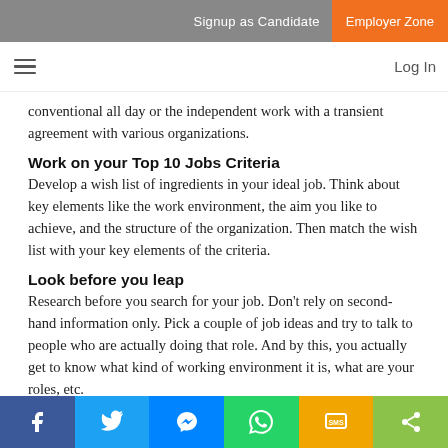Signup as Candidate | Employer Zone
≡  Log In
conventional all day or the independent work with a transient agreement with various organizations.
Work on your Top 10 Jobs Criteria
Develop a wish list of ingredients in your ideal job. Think about key elements like the work environment, the aim you like to achieve, and the structure of the organization. Then match the wish list with your key elements of the criteria.
Look before you leap
Research before you search for your job. Don't rely on second-hand information only. Pick a couple of job ideas and try to talk to people who are actually doing that role. And by this, you actually get to know what kind of working environment it is, what are your roles, etc.
Avoid yes/no thinking
Explore your options thoroughly before you say yes/no to a job and don't let setbacks put you off. And ask your friends to challenge you when you
f  Twitter  Messenger  WhatsApp  SMS  Share